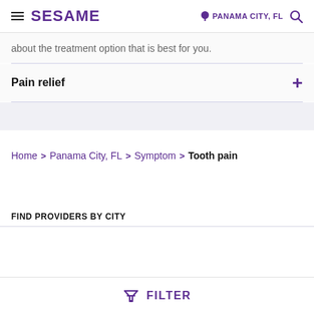SESAME | PANAMA CITY, FL
about the treatment option that is best for you.
Pain relief
Home > Panama City, FL > Symptom > Tooth pain
FIND PROVIDERS BY CITY
FILTER